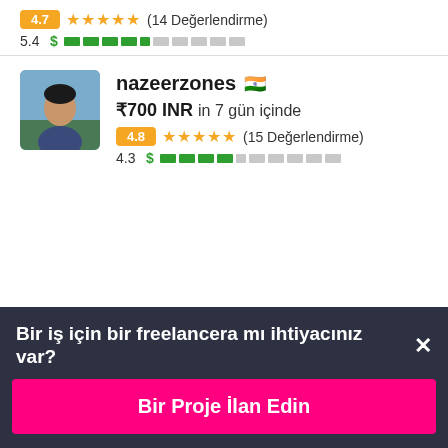[Figure (other): Rating row showing 4.7 orange badge, 5 orange stars, (14 Değerlendirme) review count]
5.4 $ ████▒▒▒▒▒▒
[Figure (photo): Profile photo of freelancer nazeerzones, a young man outdoors]
nazeerzones 🇮🇳
₹700 INR in 7 gün içinde
[Figure (other): Rating row showing 4.8 orange badge, 5 orange stars, (15 Değerlendirme) review count]
4.3 $ ████▒▒▒▒▒▒
Bir iş için bir freelancera mı ihtiyacınız var?
Bir Proje İlan Edin